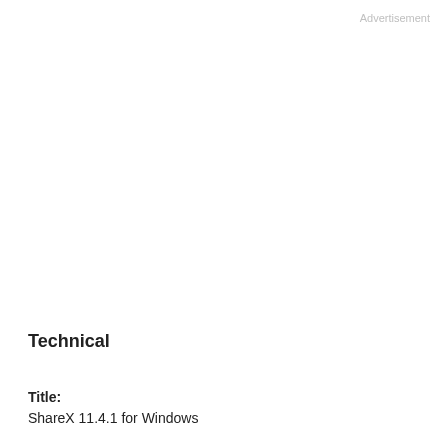Advertisement
Technical
Title:
ShareX 11.4.1 for Windows